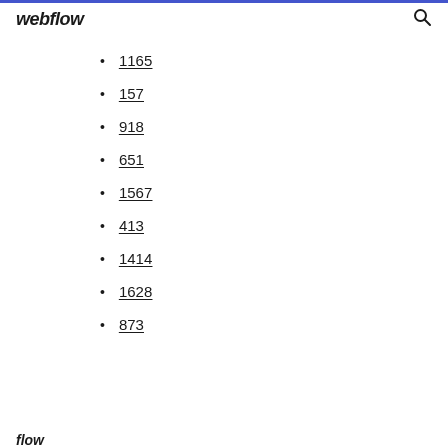webflow
1165
157
918
651
1567
413
1414
1628
873